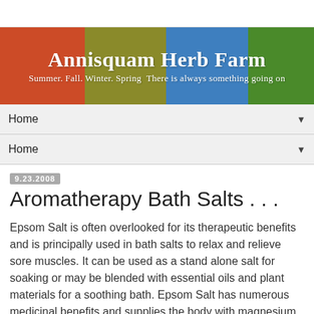[Figure (logo): Annisquam Herb Farm banner with four colored sections (orange-red, olive, blue, green) and white script text reading 'Annisquam Herb Farm' with subtitle 'Summer. Fall. Winter. Spring There is always something going on']
Home ▼
Home ▼
9.23.2008
Aromatherapy Bath Salts . . .
Epsom Salt is often overlooked for its therapeutic benefits and is principally used in bath salts to relax and relieve sore muscles. It can be used as a stand alone salt for soaking or may be blended with essential oils and plant materials for a soothing bath. Epsom Salt has numerous medicinal benefits and supplies the body with magnesium and sulfates.